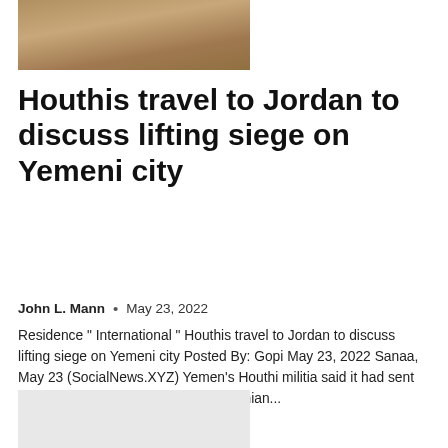[Figure (photo): Partial photo at top of page showing a sandy outdoor scene with people, cropped]
Houthis travel to Jordan to discuss lifting siege on Yemeni city
John L. Mann  •  May 23, 2022
Residence " International " Houthis travel to Jordan to discuss lifting siege on Yemeni city Posted By: Gopi May 23, 2022 Sanaa, May 23 (SocialNews.XYZ) Yemen's Houthi militia said it had sent representatives to Amman, the Jordanian...
[Figure (photo): Light gray placeholder image at bottom of page]